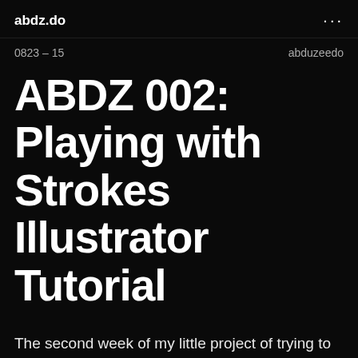abdz.do
0823 – 15   abduzeedo
ABDZ 002: Playing with Strokes Illustrator Tutorial
The second week of my little project of trying to create an image per week. This time I got inspired by simple vector illustrations I saw that had lines